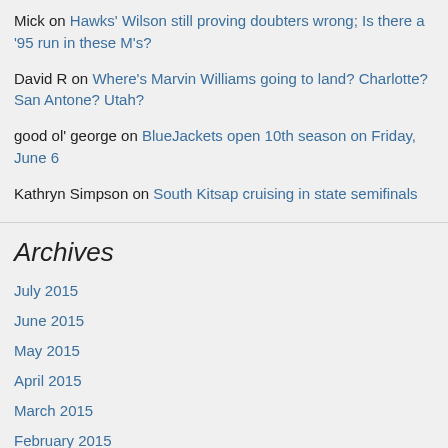Mick on Hawks' Wilson still proving doubters wrong; Is there a '95 run in these M's?
David R on Where's Marvin Williams going to land? Charlotte? San Antone? Utah?
good ol' george on BlueJackets open 10th season on Friday, June 6
Kathryn Simpson on South Kitsap cruising in state semifinals
Archives
July 2015
June 2015
May 2015
April 2015
March 2015
February 2015